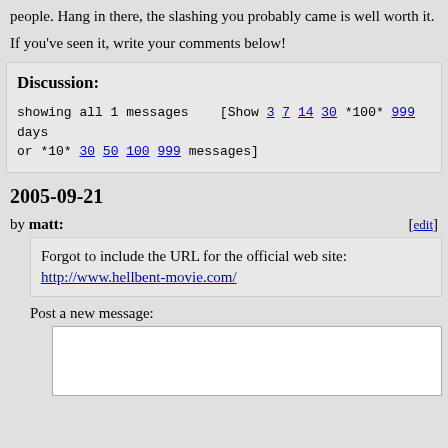people. Hang in there, the slashing you probably came is well worth it.
If you've seen it, write your comments below!
Discussion:
showing all 1 messages   [Show 3 7 14 30 *100* 999 days or *10* 30 50 100 999 messages]
2005-09-21
by matt: [edit]
Forgot to include the URL for the official web site: http://www.hellbent-movie.com/
Post a new message: